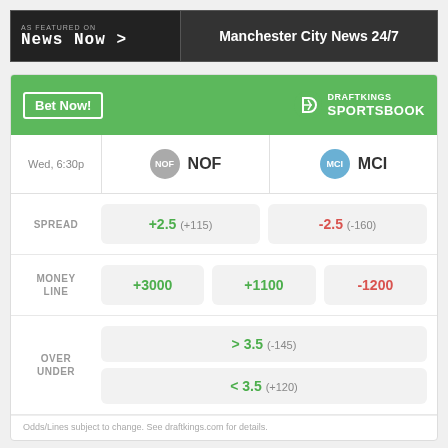AS FEATURED ON NEWS NOW > | Manchester City News 24/7
|  | NOF | MCI |
| --- | --- | --- |
| Wed, 6:30p | NOF | MCI |
| SPREAD | +2.5 (+115) | -2.5 (-160) |
| MONEY LINE | +3000 | +1100 | -1200 |
| OVER UNDER | > 3.5 (-145) | < 3.5 (+120) |
Odds/Lines subject to change. See draftkings.com for details.